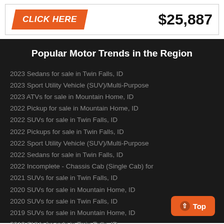[Figure (other): Orange parallelogram button with 'CLICK HERE' text in white italic bold, and price '$25,887' in large bold black text on white background]
Popular Motor Trends in the Region
2023 Sedans for sale in Twin Falls, ID
2023 Sport Utility Vehicle (SUV)/Multi-Purpose
2023 ATVs for sale in Mountain Home, ID
2022 Pickup for sale in Mountain Home, ID
2022 SUVs for sale in Twin Falls, ID
2022 Pickups for sale in Twin Falls, ID
2022 Sport Utility Vehicle (SUV)/Multi-Purpose
2022 Sedans for sale in Twin Falls, ID
2022 Incomplete - Chassis Cab (Single Cab) for
2021 SUVs for sale in Twin Falls, ID
2020 SUVs for sale in Mountain Home, ID
2020 SUVs for sale in Twin Falls, ID
2019 SUVs for sale in Mountain Home, ID
2019 SUVs for sale in Twin Falls, ID